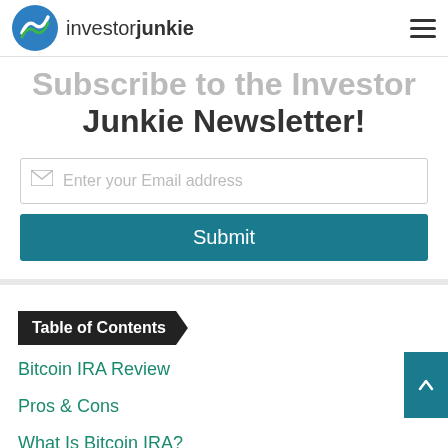So You Want to Learn About Investing?
investorjunkie
Subscribe to the Investor Junkie Newsletter!
Enter your Email address
Submit
Table of Contents
Bitcoin IRA Review
Pros & Cons
What Is Bitcoin IRA?
How Does It Work?